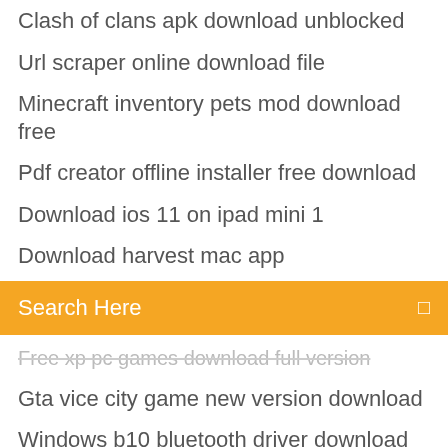Clash of clans apk download unblocked
Url scraper online download file
Minecraft inventory pets mod download free
Pdf creator offline installer free download
Download ios 11 on ipad mini 1
Download harvest mac app
[Figure (screenshot): Orange search bar with text 'Search Here' and a small icon on the right]
Free xp pc games download full version
Gta vice city game new version download
Windows b10 bluetooth driver download
How to download from tamilrockers in pc
What app download for wheel of fortune
The clinical dietitians essential pocket guide pdf download
Eclipse phase core rulebook pdf download
Downloading day one app from phone
Rfa to dwg converter free download
Download android ovpn files from nordvpn
Adobe photoshop free download full version cnet